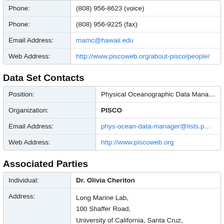| Label | Value |
| --- | --- |
| Phone: | (808) 956-8623 (voice) |
| Phone: | (808) 956-9225 (fax) |
| Email Address: | mamc@hawaii.edu |
| Web Address: | http://www.piscoweb.org/about-pisco/people/... |
Data Set Contacts
| Label | Value |
| --- | --- |
| Position: | Physical Oceanographic Data Manager |
| Organization: | PISCO |
| Email Address: | phys-ocean-data-manager@lists.p... |
| Web Address: | http://www.piscoweb.org |
Associated Parties
| Label | Value |
| --- | --- |
| Individual: | Dr. Olivia Cheriton |
| Address: | Long Marine Lab,
100 Shaffer Road,
University of California, Santa Cruz,
Santa Cruz, California 95060 USA |